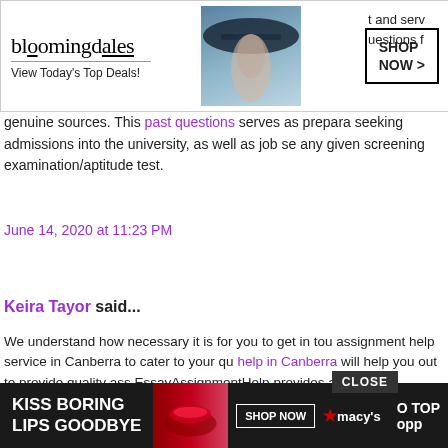[Figure (screenshot): Bloomingdale's advertisement banner with model wearing hat, 'View Today's Top Deals!' text, and 'SHOP NOW >' button]
and serv questions f genuine sources. This past questions serves as prepara seeking admissions into the university, as well as job se any given screening examination/aptitude test.
June 14, 2020 at 11:23 PM
Keira Tayor said...
We understand how necessary it is for you to get in tou assignment help service in Canberra to cater to your qu help in Canberra will help you out to provide quality ass EssayAssignmentHelp provides all sorts of assignment scholarship essays requested by our customers. Hence, loyal of customers who believe in our custom services. When you are seeking the assignment help in Perth fro experts will provide insightful research. als on eve
[Figure (screenshot): Macy's lipstick advertisement 'KISS BORING LIPS GOODBYE' with 'SHOP NOW' button and Macy's logo]
CLOSE
O TOP opp